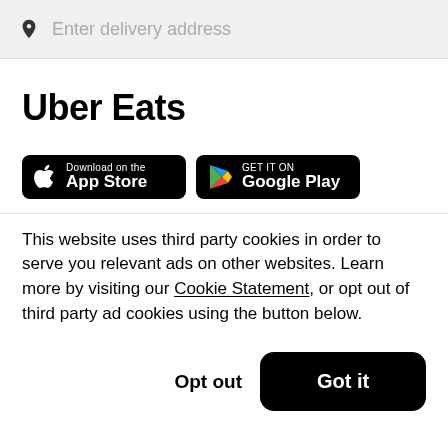Enter delivery address
Uber Eats
[Figure (other): Download on the App Store badge (black rounded rectangle with Apple logo)]
[Figure (other): GET IT ON Google Play badge (black rounded rectangle with Google Play triangle logo)]
This website uses third party cookies in order to serve you relevant ads on other websites. Learn more by visiting our Cookie Statement, or opt out of third party ad cookies using the button below.
Opt out
Got it